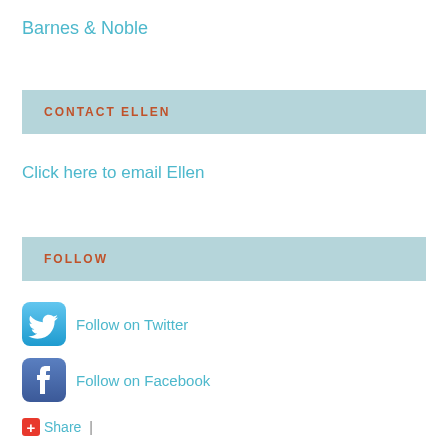Barnes & Noble
CONTACT ELLEN
Click here to email Ellen
FOLLOW
Follow on Twitter
Follow on Facebook
Share |